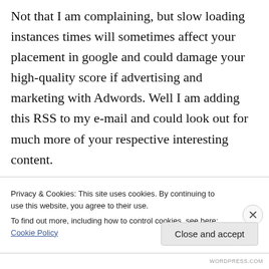Not that I am complaining, but slow loading instances times will sometimes affect your placement in google and could damage your high-quality score if advertising and marketing with Adwords. Well I am adding this RSS to my e-mail and could look out for much more of your respective interesting content.
Make sure you update this again soon..
Magnificent goods from you, man. I have
Privacy & Cookies: This site uses cookies. By continuing to use this website, you agree to their use.
To find out more, including how to control cookies, see here: Cookie Policy
Close and accept
WORDPRESS.COM